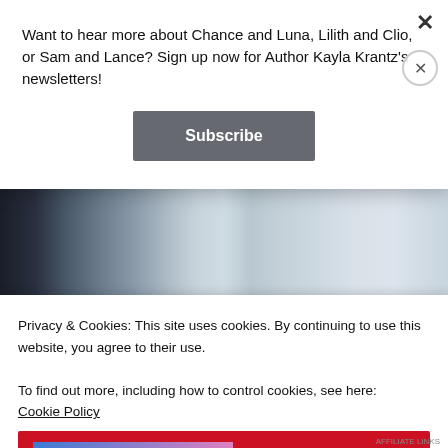[Figure (photo): Winter forest scene with bare trees and snow/ice, used as website background; shown partially behind popups]
Want to hear more about Chance and Luna, Lilith and Clio, or Sam and Lance? Sign up now for Author Kayla Krantz's newsletters!
Subscribe
Privacy & Cookies: This site uses cookies. By continuing to use this website, you agree to their use.
To find out more, including how to control cookies, see here:
Cookie Policy
Close and accept